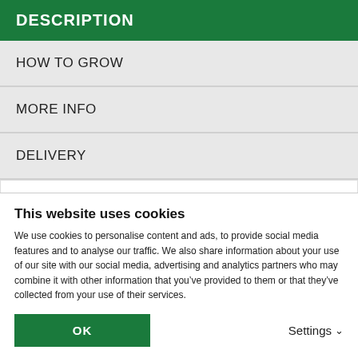DESCRIPTION
HOW TO GROW
MORE INFO
DELIVERY
The bright, cheerful flowers of Gaillardia ‘Torchlight’ are perfect for adding vibrant colour to well-draining, drought-prone borders and coastal gardens. Flowering from June
This website uses cookies
We use cookies to personalise content and ads, to provide social media features and to analyse our traffic. We also share information about your use of our site with our social media, advertising and analytics partners who may combine it with other information that you’ve provided to them or that they’ve collected from your use of their services.
OK
Settings